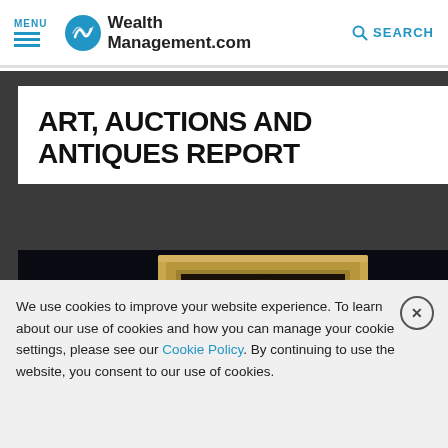MENU | WealthManagement.com | SEARCH
ART, AUCTIONS AND ANTIQUES REPORT
[Figure (photo): Photo of a person holding an ornate gold-framed painting against a dark background]
We use cookies to improve your website experience. To learn about our use of cookies and how you can manage your cookie settings, please see our Cookie Policy. By continuing to use the website, you consent to our use of cookies.